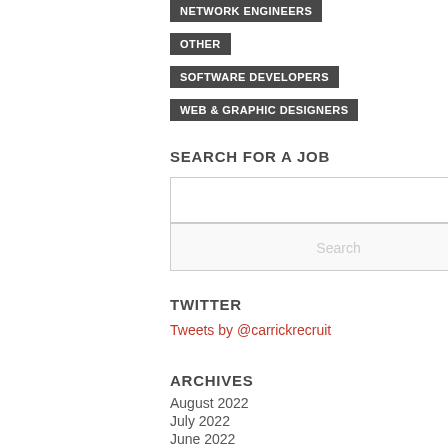NETWORK ENGINEERS
OTHER
SOFTWARE DEVELOPERS
WEB & GRAPHIC DESIGNERS
SEARCH FOR A JOB
(search input box)
Search
TWITTER
Tweets by @carrickrecruit
ARCHIVES
August 2022
July 2022
June 2022